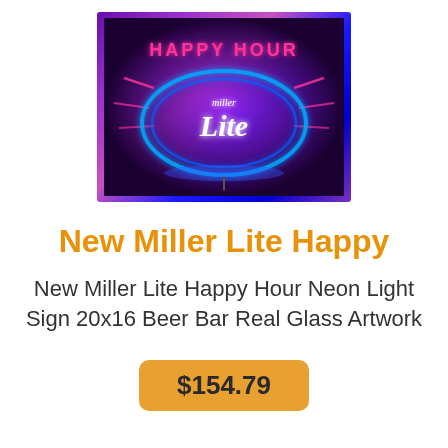[Figure (photo): Miller Lite Happy Hour neon light sign glowing with blue and red/pink neon tubes against a purple/dark background]
New Miller Lite Happy
New Miller Lite Happy Hour Neon Light Sign 20x16 Beer Bar Real Glass Artwork
$154.79